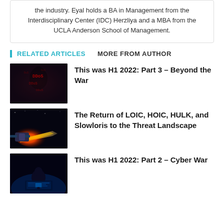the industry. Eyal holds a BA in Management from the Interdisciplinary Center (IDC) Herzliya and a MBA from the UCLA Anderson School of Management.
RELATED ARTICLES   MORE FROM AUTHOR
This was H1 2022: Part 3 – Beyond the War
The Return of LOIC, HOIC, HULK, and Slowloris to the Threat Landscape
This was H1 2022: Part 2 – Cyber War